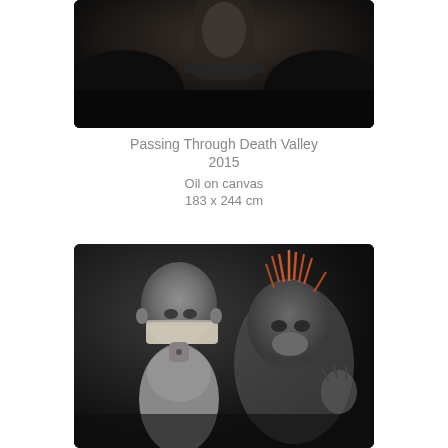[Figure (illustration): Dark, atmospheric oil painting showing a dimly lit figure with dark background, torso partially visible, dramatic lighting — top portion of artwork 'Passing Through Death Valley']
Passing Through Death Valley
2015
Oil on canvas
183 x 244 cm
[Figure (illustration): Dark monochromatic painting showing two surreal figures: a bald humanoid with a white mask/bandage covering its lower face on the left, and a cat-like creature with spiky orange-tipped fur/quills on the right, both against a dark grey background]